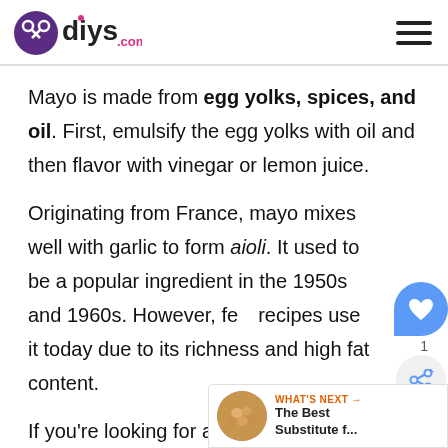diys.com
Mayo is made from egg yolks, spices, and oil. First, emulsify the egg yolks with oil and then flavor with vinegar or lemon juice.
Originating from France, mayo mixes well with garlic to form aioli. It used to be a popular ingredient in the 1950s and 1960s. However, few recipes use it today due to its richness and high fat content.
If you're looking for a substitute for ma... go for an ingredient with the same tangy flavor